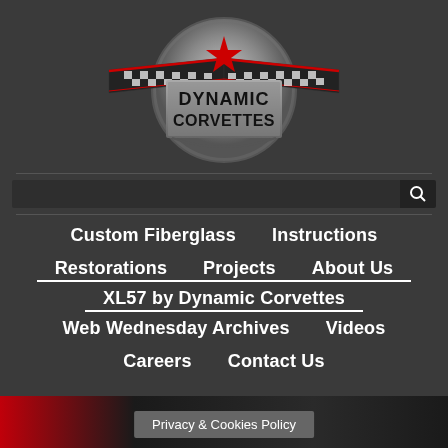[Figure (logo): Dynamic Corvettes logo with checkered flag wings, red star, and metallic circular emblem with text DYNAMIC CORVETTES]
Custom Fiberglass
Instructions
Restorations
Projects
About Us
XL57 by Dynamic Corvettes
Web Wednesday Archives
Videos
Careers
Contact Us
Privacy & Cookies Policy